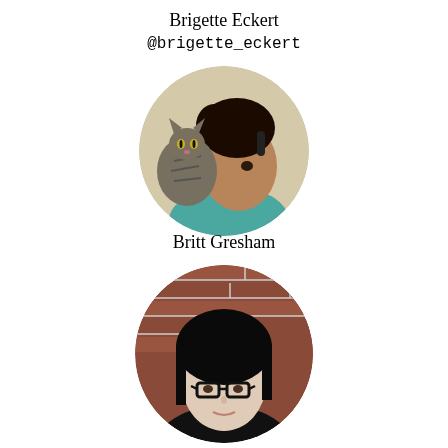[Figure (photo): Circular profile photo of Brigette Eckert, a person with curly dark hair holding a tabby cat, wearing teal/green top]
Brigette Eckert
@brigette_eckert
Britt Gresham
[Figure (photo): Circular profile photo of Britt Gresham, a woman with straight black hair and black-framed glasses, in front of a brick wall]